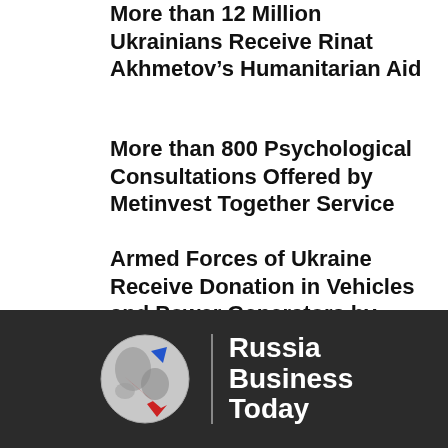More than 12 Million Ukrainians Receive Rinat Akhmetov’s Humanitarian Aid
More than 800 Psychological Consultations Offered by Metinvest Together Service
Armed Forces of Ukraine Receive Donation in Vehicles and Power Generators by DTEK
[Figure (logo): Russia Business Today logo with globe graphic showing arrows and brand name text]